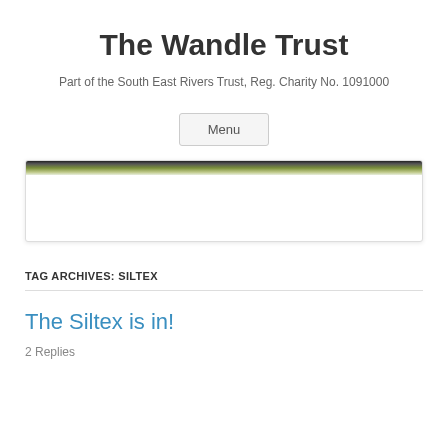The Wandle Trust
Part of the South East Rivers Trust, Reg. Charity No. 1091000
Menu
[Figure (photo): Partial hero banner image showing a river or nature scene, mostly white with a dark green strip at the top edge.]
TAG ARCHIVES: SILTEX
The Siltex is in!
2 Replies